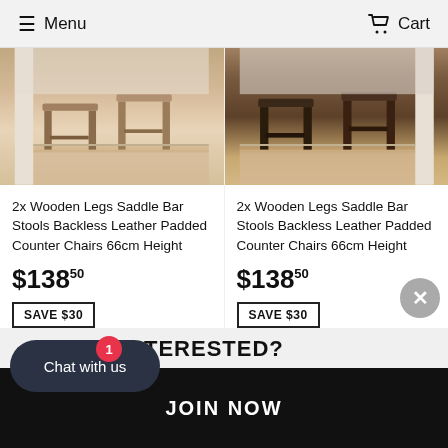Menu  Cart
[Figure (photo): Two light wood bar stools with leather padded seats on hardwood floor]
[Figure (photo): Two dark wood bar stools with leather padded seats on hardwood floor]
2x Wooden Legs Saddle Bar Stools Backless Leather Padded Counter Chairs 66cm Height
$138.50
SAVE $30
2x Wooden Legs Saddle Bar Stools Backless Leather Padded Counter Chairs 66cm Height
$138.50
SAVE $30
INTERESTED?
Chat with us
JOIN NOW